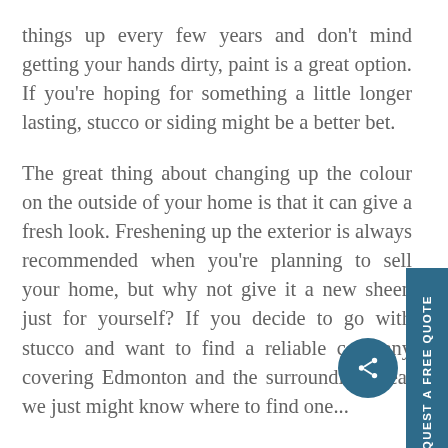things up every few years and don't mind getting your hands dirty, paint is a great option. If you're hoping for something a little longer lasting, stucco or siding might be a better bet.
The great thing about changing up the colour on the outside of your home is that it can give a fresh look. Freshening up the exterior is always recommended when you're planning to sell your home, but why not give it a new sheen just for yourself? If you decide to go with stucco and want to find a reliable company covering Edmonton and the surrounding area, we just might know where to find one...